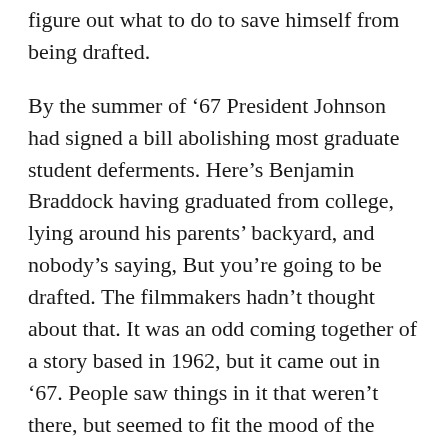figure out what to do to save himself from being drafted.
By the summer of '67 President Johnson had signed a bill abolishing most graduate student deferments. Here's Benjamin Braddock having graduated from college, lying around his parents' backyard, and nobody's saying, But you're going to be drafted. The filmmakers hadn't thought about that. It was an odd coming together of a story based in 1962, but it came out in '67. People saw things in it that weren't there, but seemed to fit the mood of the times.
After The Graduate, a lot of movies were made about the draft and the other problems I've mentioned. Those films were period pieces, and they've drifted out of sight. The Graduate was not trying to be about a particular era [but] we recognized it back then. Some young people today see it and...